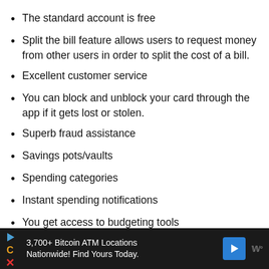The standard account is free
Split the bill feature allows users to request money from other users in order to split the cost of a bill.
Excellent customer service
You can block and unblock your card through the app if it gets lost or stolen.
Superb fraud assistance
Savings pots/vaults
Spending categories
Instant spending notifications
You get access to budgeting tools
The mobile app is easy to use
You can track and analyse your spending from the
3,700+ Bitcoin ATM Locations Nationwide! Find Yours Today.